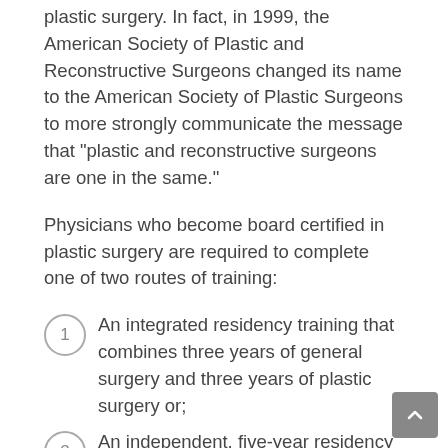plastic surgery. In fact, in 1999, the American Society of Plastic and Reconstructive Surgeons changed its name to the American Society of Plastic Surgeons to more strongly communicate the message that "plastic and reconstructive surgeons are one in the same."
Physicians who become board certified in plastic surgery are required to complete one of two routes of training:
1  An integrated residency training that combines three years of general surgery and three years of plastic surgery or;
2  An independent, five-year residency program in general surgery followed by the two-year plastic surgery residency program.
Residency programs in plastic surgery may include